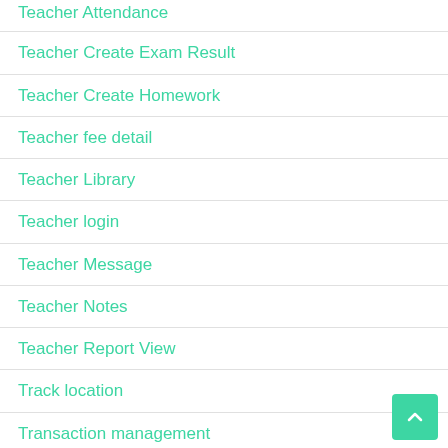Teacher Attendance
Teacher Create Exam Result
Teacher Create Homework
Teacher fee detail
Teacher Library
Teacher login
Teacher Message
Teacher Notes
Teacher Report View
Track location
Transaction management
transport
Update Student Fee